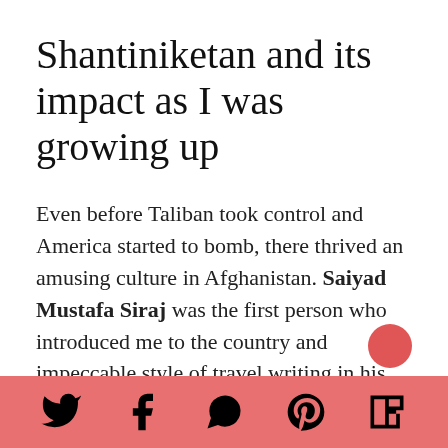Shantiniketan and its impact as I was growing up
Even before Taliban took control and America started to bomb, there thrived an amusing culture in Afghanistan. Saiyad Mustafa Siraj was the first person who introduced me to the country and impeccable style of travel writing in his book Deshe Bideshe. Multiple times he had referred to his life in Shantiniketan during the journey. The Noble laureate, Amartya sen, refers to Shantiniketan as home. And in line with my ancestry from Bankura, let me take pride in mentioning the pioneer
Social share icons: Twitter, Facebook, WhatsApp, Pinterest, Flipboard